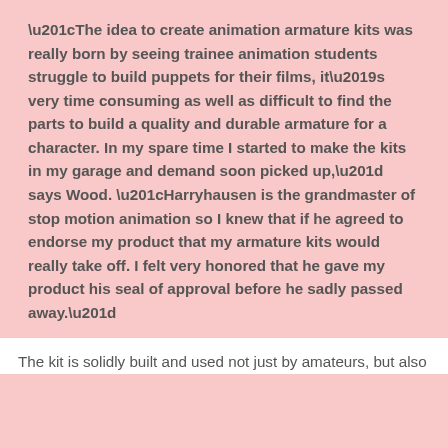“The idea to create animation armature kits was really born by seeing trainee animation students struggle to build puppets for their films, it’s very time consuming as well as difficult to find the parts to build a quality and durable armature for a character. In my spare time I started to make the kits in my garage and demand soon picked up,” says Wood. “Harryhausen is the grandmaster of stop motion animation so I knew that if he agreed to endorse my product that my armature kits would really take off. I felt very honored that he gave my product his seal of approval before he sadly passed away.”
The kit is solidly built and used not just by amateurs, but also